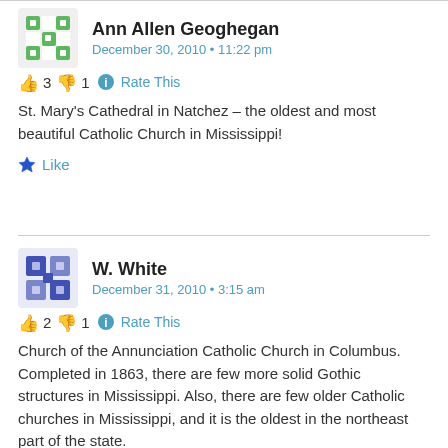Ann Allen Geoghegan
December 30, 2010 • 11:22 pm
👍 3 👎 1 ℹ Rate This
St. Mary's Cathedral in Natchez – the oldest and most beautiful Catholic Church in Mississippi!
★ Like
W. White
December 31, 2010 • 3:15 am
👍 2 👎 1 ℹ Rate This
Church of the Annunciation Catholic Church in Columbus. Completed in 1863, there are few more solid Gothic structures in Mississippi. Also, there are few older Catholic churches in Mississippi, and it is the oldest in the northeast part of the state.
★ Like